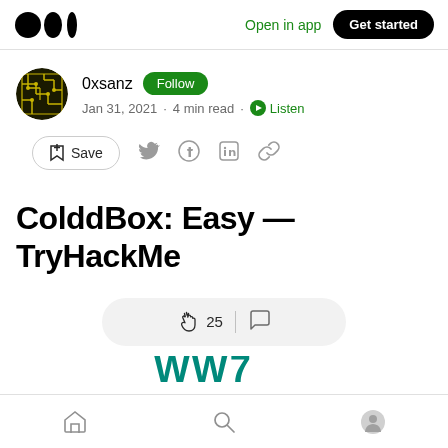Medium app header with logo, Open in app, Get started
0xsanz · Follow · Jan 31, 2021 · 4 min read · Listen
ColddBox: Easy — TryHackMe
25 claps, comment button
Bottom navigation bar: Home, Search, Profile